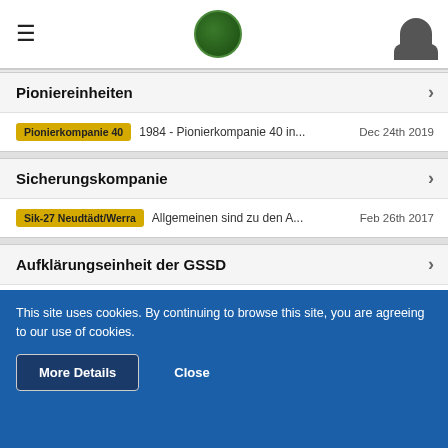Navigation header with hamburger menu, logo, and user icon
Pioniereinheiten
Pionierkompanie 40  1984 - Pionierkompanie 40 in...  Dec 24th 2019
Sicherungskompanie
Sik-27 Neudtädt/Werra  Allgemeinen sind zu den A...  Feb 26th 2017
Aufklärungseinheit der GSSD
Lauchröden  Bunkeranlage Stechberg  Aug 11th 2014
Filme zum Sicherungsabschnitt
BGS Bad Hersfeld  Bilder zum BGS Bad Hersfeld 1...  Dec 8th 2021
This site uses cookies. By continuing to browse this site, you are agreeing to our use of cookies.
More Details  Close